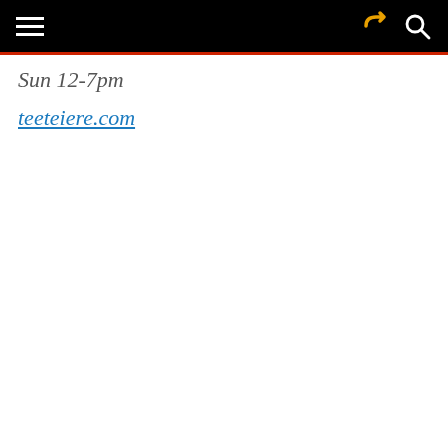Navigation bar with hamburger menu, share icon, and search icon
Sun 12-7pm
teeteiere.com